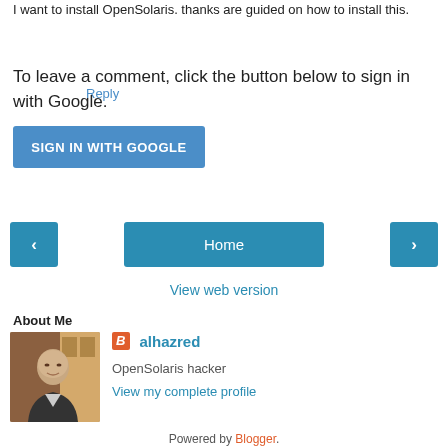I want to install OpenSolaris. thanks are guided on how to install this.
Reply
To leave a comment, click the button below to sign in with Google.
SIGN IN WITH GOOGLE
Home
View web version
About Me
[Figure (photo): Profile photo of alhazred - a bald man in a suit outdoors]
alhazred
OpenSolaris hacker
View my complete profile
Powered by Blogger.